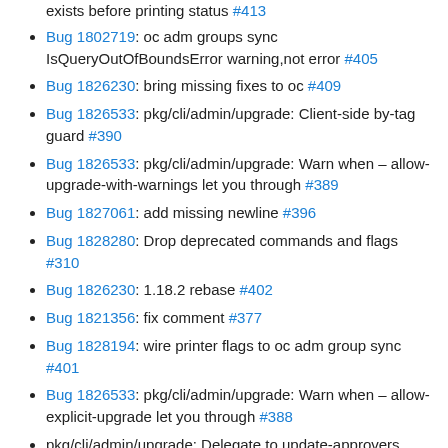exists before printing status #413
Bug 1802719: oc adm groups sync IsQueryOutOfBoundsError warning,not error #405
Bug 1826230: bring missing fixes to oc #409
Bug 1826533: pkg/cli/admin/upgrade: Client-side by-tag guard #390
Bug 1826533: pkg/cli/admin/upgrade: Warn when – allow-upgrade-with-warnings let you through #389
Bug 1827061: add missing newline #396
Bug 1828280: Drop deprecated commands and flags #310
Bug 1826230: 1.18.2 rebase #402
Bug 1821356: fix comment #377
Bug 1828194: wire printer flags to oc adm group sync #401
Bug 1826533: pkg/cli/admin/upgrade: Warn when – allow-explicit-upgrade let you through #388
pkg/cli/admin/upgrade: Delegate to update-approvers #391